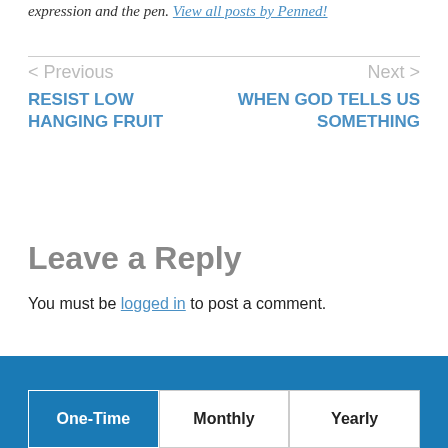expression and the pen. View all posts by Penned!
< Previous   Next >
RESIST LOW HANGING FRUIT
WHEN GOD TELLS US SOMETHING
Leave a Reply
You must be logged in to post a comment.
One-Time   Monthly   Yearly